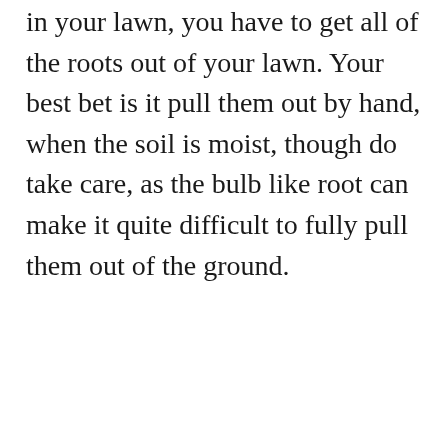in your lawn, you have to get all of the roots out of your lawn. Your best bet is it pull them out by hand, when the soil is moist, though do take care, as the bulb like root can make it quite difficult to fully pull them out of the ground.